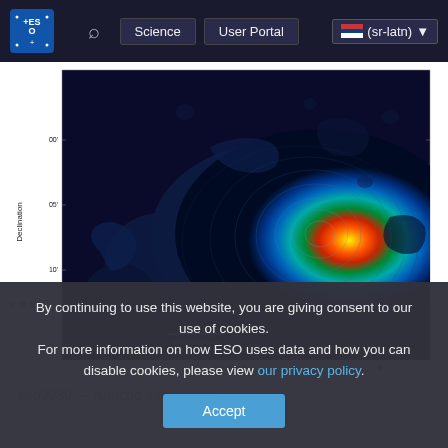ESO Science User Portal (sr-latn)
[Figure (continuous-plot): Astronomical false-color contour map showing radio/optical emission of a galaxy or nebula. The image shows intensity contours with a color gradient from dark navy blue (low intensity) at the edges, through green and cyan in the mid-range, to yellow-orange-red (high intensity) at the bright central core. The y-axis is labeled 'Declination' and shows values around -26°28'05" to -26°28'15". The x-axis shows Right Ascension values around 18h40m. A scale bar in the lower left reads '200,000 light-years'.]
eso9939 — Naučno saopštenje
By continuing to use this website, you are giving consent to our use of cookies.
For more information on how ESO uses data and how you can disable cookies, please view our privacy policy.